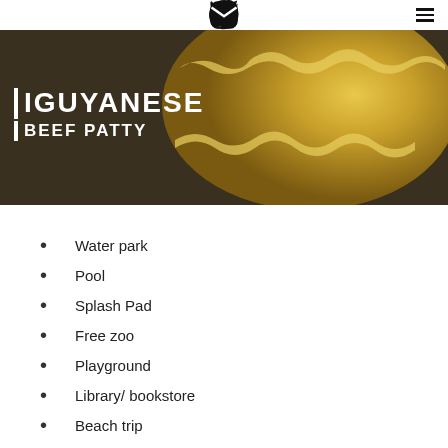Twitter Instagram Facebook Pinterest YouTube Email | Menu
[Figure (photo): Hero banner showing a golden Guyanese beef patty, yellow pastry with crimped edges, on a dark background. Text overlay reads IGUYANESE BEEF PATTY in white bold letters.]
Water park
Pool
Splash Pad
Free zoo
Playground
Library/ bookstore
Beach trip
$1 movies
Backyard camping